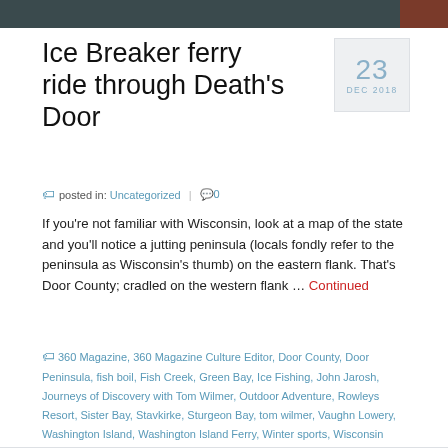[Figure (photo): Partial hero image of a dark water/ferry scene, cropped at top of page]
Ice Breaker ferry ride through Death's Door
posted in: Uncategorized | 0
If you're not familiar with Wisconsin, look at a map of the state and you'll notice a jutting peninsula (locals fondly refer to the peninsula as Wisconsin's thumb) on the eastern flank. That's Door County; cradled on the western flank … Continued
360 Magazine, 360 Magazine Culture Editor, Door County, Door Peninsula, fish boil, Fish Creek, Green Bay, Ice Fishing, John Jarosh, Journeys of Discovery with Tom Wilmer, Outdoor Adventure, Rowleys Resort, Sister Bay, Stavkirke, Sturgeon Bay, tom wilmer, Vaughn Lowery, Washington Island, Washington Island Ferry, Winter sports, Wisconsin Tourism, Wisconsin Travel